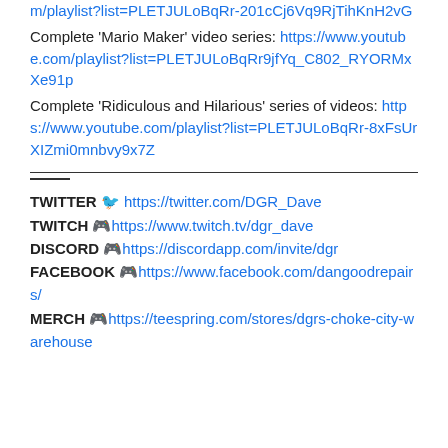m/playlist?list=PLETJULoBqRr-201cCj6Vq9RjTihKnH2vG
Complete 'Mario Maker' video series: https://www.youtube.com/playlist?list=PLETJULoBqRr9jfYq_C802_RYORMxXe91p
Complete 'Ridiculous and Hilarious' series of videos: https://www.youtube.com/playlist?list=PLETJULoBqRr-8xFsUrXIZmi0mnbvy9x7Z
——
TWITTER 🐦 https://twitter.com/DGR_Dave
TWITCH 🎮https://www.twitch.tv/dgr_dave
DISCORD 🎮https://discordapp.com/invite/dgr
FACEBOOK 🎮https://www.facebook.com/dangoodrepairs/
MERCH 🎮https://teespring.com/stores/dgrs-choke-city-warehouse